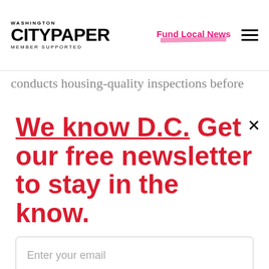Washington City Paper — Member Supported | Fund Local News
conducts housing-quality inspections before
We know D.C. Get our free newsletter to stay in the know.
Enter your email
Sign Up
Unsubscribe any time.